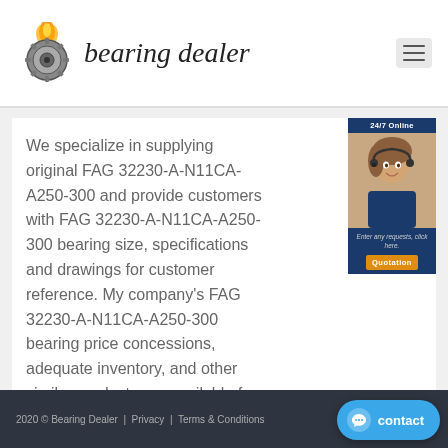bearing dealer
We specialize in supplying original FAG 32230-A-N11CA-A250-300 and provide customers with FAG 32230-A-N11CA-A250-300 bearing size, specifications and drawings for customer reference. My company's FAG 32230-A-N11CA-A250-300 bearing price concessions, adequate inventory, and other similar products are available for recommendation
[Figure (photo): 24/7 Online chat widget showing a customer service representative, with text 'Enter any requests, click here.' and a Quotation button]
2020 © Bearing Dealer  |  Privacy  |  Terms & Conditions